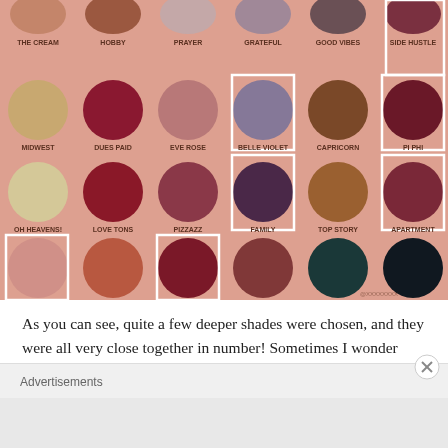[Figure (photo): Eyeshadow palette with 24 circular pans arranged in a 6x4 grid on a pink/peach background. Each pan is labeled with a name. Highlighted pans (white border): SIDE HUSTLE, PI PHI, APARTMENT, BELLE VIOLET, FAMILY, CUPCAKE, CHEER. Pan names row1: THE CREAM, HOBBY, PRAYER, GRATEFUL, GOOD VIBES, SIDE HUSTLE. Row2: MIDWEST, DUES PAID, EVE ROSE, BELLE VIOLET, CAPRICORN, PI PHI. Row3: OH HEAVENS!, LOVE TONS, PIZZAZZ, FAMILY, TOP STORY, APARTMENT. Row4: CUPCAKE, LAUGHCRY, CHEER, HEARTBEAT, CORDUROY, DARK & EARLY.]
As you can see, quite a few deeper shades were chosen, and they were all very close together in number! Sometimes I wonder about these “random” number generators. Regardless, I think I was pretty lucky to have chosen quite a few shades that
Advertisements